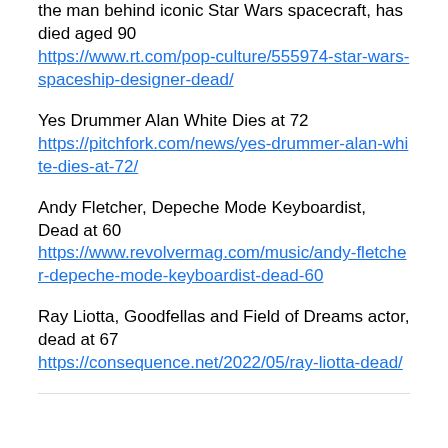the man behind iconic Star Wars spacecraft, has died aged 90
https://www.rt.com/pop-culture/555974-star-wars-spaceship-designer-dead/
Yes Drummer Alan White Dies at 72
https://pitchfork.com/news/yes-drummer-alan-white-dies-at-72/
Andy Fletcher, Depeche Mode Keyboardist, Dead at 60
https://www.revolvermag.com/music/andy-fletcher-depeche-mode-keyboardist-dead-60
Ray Liotta, Goodfellas and Field of Dreams actor, dead at 67
https://consequence.net/2022/05/ray-liotta-dead/